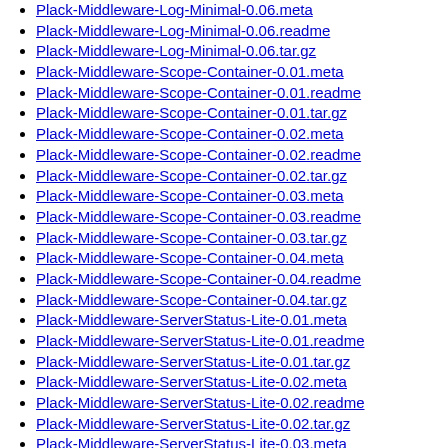Plack-Middleware-Log-Minimal-0.06.meta
Plack-Middleware-Log-Minimal-0.06.readme
Plack-Middleware-Log-Minimal-0.06.tar.gz
Plack-Middleware-Scope-Container-0.01.meta
Plack-Middleware-Scope-Container-0.01.readme
Plack-Middleware-Scope-Container-0.01.tar.gz
Plack-Middleware-Scope-Container-0.02.meta
Plack-Middleware-Scope-Container-0.02.readme
Plack-Middleware-Scope-Container-0.02.tar.gz
Plack-Middleware-Scope-Container-0.03.meta
Plack-Middleware-Scope-Container-0.03.readme
Plack-Middleware-Scope-Container-0.03.tar.gz
Plack-Middleware-Scope-Container-0.04.meta
Plack-Middleware-Scope-Container-0.04.readme
Plack-Middleware-Scope-Container-0.04.tar.gz
Plack-Middleware-ServerStatus-Lite-0.01.meta
Plack-Middleware-ServerStatus-Lite-0.01.readme
Plack-Middleware-ServerStatus-Lite-0.01.tar.gz
Plack-Middleware-ServerStatus-Lite-0.02.meta
Plack-Middleware-ServerStatus-Lite-0.02.readme
Plack-Middleware-ServerStatus-Lite-0.02.tar.gz
Plack-Middleware-ServerStatus-Lite-0.03.meta
Plack-Middleware-ServerStatus-Lite-0.03.readme
Plack-Middleware-ServerStatus-Lite-0.03.tar.gz
Plack-Middleware-ServerStatus-Lite-0.04.meta
Plack-Middleware-ServerStatus-Lite-0.04.readme